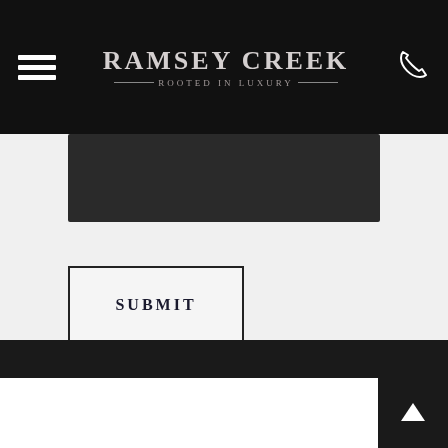RAMSEY CREEK — ROOTED IN LUXURY
[Figure (screenshot): Dark input/textarea area]
SUBMIT
Footer bar
[Figure (other): Scroll-to-top button with upward chevron arrow]